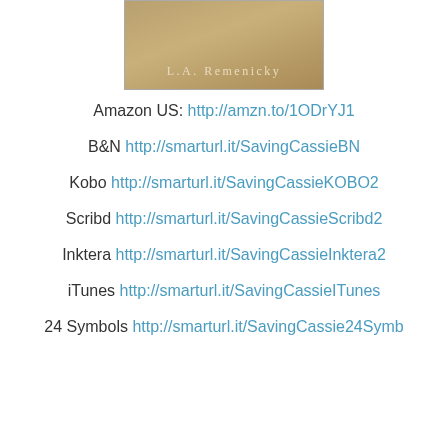[Figure (illustration): Book cover image showing author name L.A. Remenicky at the bottom]
Amazon US: http://amzn.to/1ODrYJ1
B&N http://smarturl.it/SavingCassieBN
Kobo http://smarturl.it/SavingCassieKOBO2
Scribd http://smarturl.it/SavingCassieScribd2
Inktera http://smarturl.it/SavingCassieInktera2
iTunes http://smarturl.it/SavingCassieITunes
24 Symbols http://smarturl.it/SavingCassie24Symb